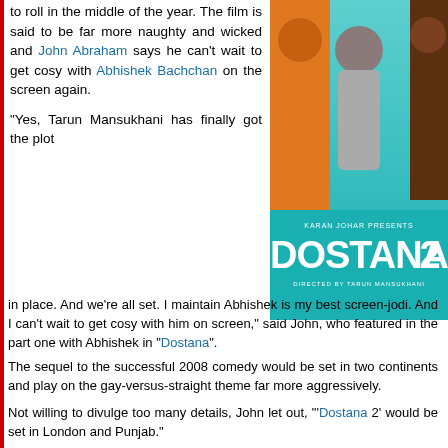to roll in the middle of the year. The film is said to be far more naughty and wicked and John Abraham says he can't wait to get cosy with Abhishek Bachchan on the screen again.
"Yes, Tarun Mansukhani has finally got the plot in place. And we're all set. I maintain Abhishek is my best screen-jodi. And I can't wait to get cosy with him on screen," said John, who featured in the part one with Abhishek in 'Dostana'.
[Figure (photo): Movie poster for Dostana 2, presented by Karan Johar, directed by Tarun Mansukhani, featuring three actors — a man in orange, a woman in silver dress, and a shirtless man.]
The sequel to the successful 2008 comedy would be set in two continents and play on the gay-versus-straight theme far more aggressively.
Not willing to divulge too many details, John let out, "'Dostana 2' would be set in London and Punjab."
The sequel won't go anywhere near beaches and bikini babes either.
"The Californian seaside setting of 'Dostana' took care of all the water-related action. 'Dostana 2' would unfold on terra firma. No beaches and, sorry, no John in dangerously low-waist swimming trunks. The cracks, if any, would show elsewhere," said a source.
The idea this time is to turn the tables on the principal actors. John would appear fully clothed and Abhishek, we hear, just might be going bare-chested for the sequel.